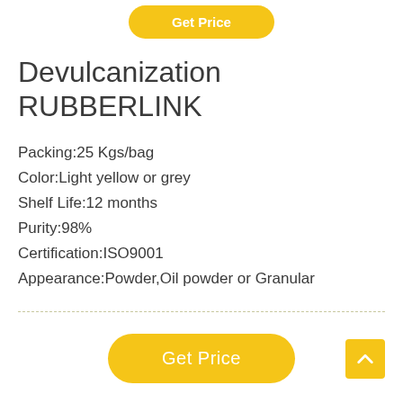Devulcanization RUBBERLINK
Packing:25 Kgs/bag
Color:Light yellow or grey
Shelf Life:12 months
Purity:98%
Certification:ISO9001
Appearance:Powder,Oil powder or Granular